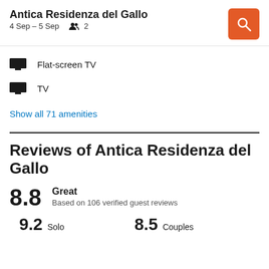Antica Residenza del Gallo
4 Sep – 5 Sep   2
Flat-screen TV
TV
Show all 71 amenities
Reviews of Antica Residenza del Gallo
8.8  Great  Based on 106 verified guest reviews
9.2  Solo    8.5  Couples